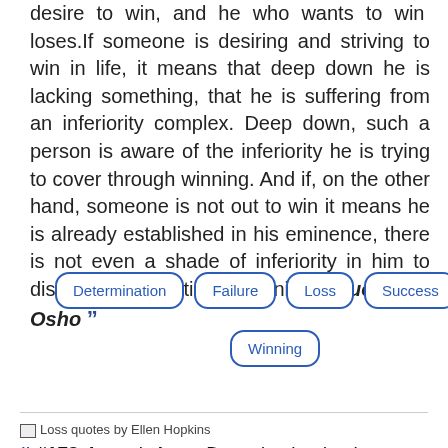desire to win, and he who wants to win loses. If someone is desiring and striving to win in life, it means that deep down he is lacking something, that he is suffering from an inferiority complex. Deep down, such a person is aware of the inferiority he is trying to cover through winning. And if, on the other hand, someone is not out to win it means he is already established in his eminence, there is not even a shade of inferiority in him to disprove by resorting to winning. #Quote by Osho ”
Determination
Failure
Loss
Success
Winning
[Figure (other): Loss quotes by Ellen Hopkins image placeholder]
#173. Loss is loss. Doesn't take death to create it. #Quote by Ellen Hopkins ”